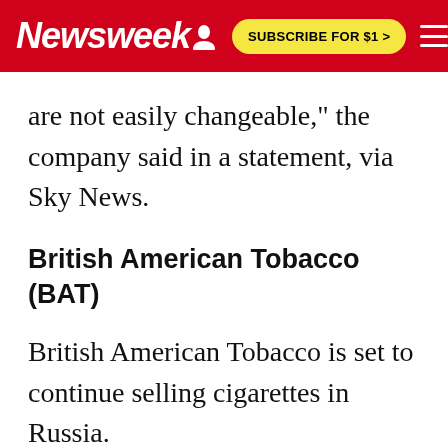Newsweek | SUBSCRIBE FOR $1 >
are not easily changeable," the company said in a statement, via Sky News.
British American Tobacco (BAT)
British American Tobacco is set to continue selling cigarettes in Russia.